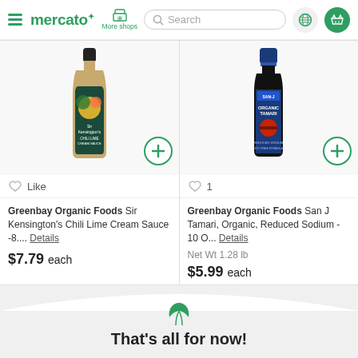mercato — More shops — Search bar — globe — basket
[Figure (photo): Sir Kensington's Chili Lime Cream Sauce bottle, yellow-green label]
[Figure (photo): San J Organic Tamari Reduced Sodium soy sauce bottle, dark glass with blue cap]
Like
1
Greenbay Organic Foods Sir Kensington's Chili Lime Cream Sauce -8.... Details
$7.79 each
Greenbay Organic Foods San J Tamari, Organic, Reduced Sodium - 10 O... Details
Net Wt 1.28 lb
$5.99 each
That's all for now!